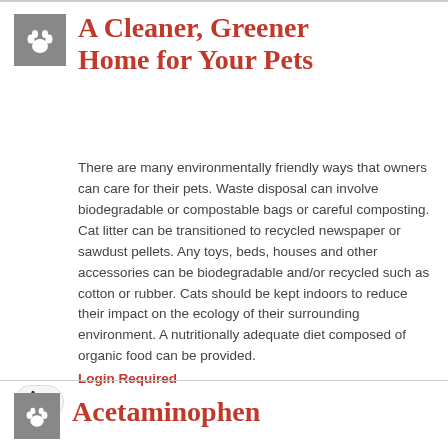A Cleaner, Greener Home for Your Pets
There are many environmentally friendly ways that owners can care for their pets. Waste disposal can involve biodegradable or compostable bags or careful composting. Cat litter can be transitioned to recycled newspaper or sawdust pellets. Any toys, beds, houses and other accessories can be biodegradable and/or recycled such as cotton or rubber. Cats should be kept indoors to reduce their impact on the ecology of their surrounding environment. A nutritionally adequate diet composed of organic food can be provided. Login Required
Acetaminophen